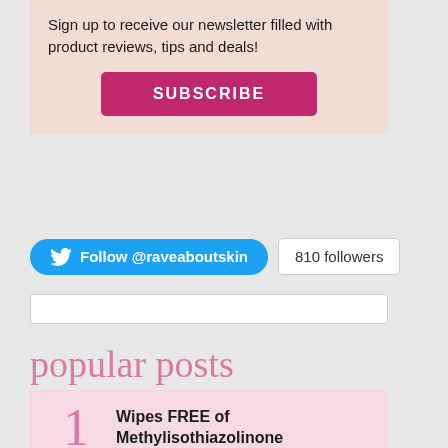Sign up to receive our newsletter filled with product reviews, tips and deals!
SUBSCRIBE
Follow @raveaboutskin
810 followers
popular posts
1 Wipes FREE of Methylisothiazolinone
2 Homage to Skin
3 Basic Skin Care